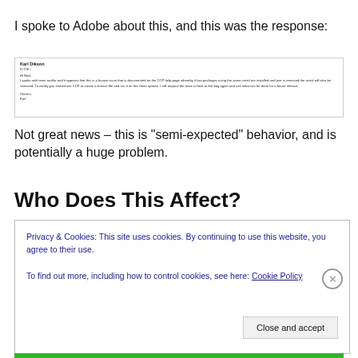I spoke to Adobe about this, and this was the response:
[Figure (screenshot): Email screenshot from Karl Dikson. Time: 4:41 AM (7 hours ago). Body: Hi Nick, I spoke with team and/or and it appears that this is a known issue that is documented on the CCP help page whereby if two packages using the same serial are installed and one is removed the serial will also be removed. To rectify you should use CCP to create a license file and run it on the client system. I will request the team to look at the bug again and see what can be done for a future release. Cheers, Karl]
Not great news – this is “semi-expected” behavior, and is potentially a huge problem.
Who Does This Affect?
Privacy & Cookies: This site uses cookies. By continuing to use this website, you agree to their use.
To find out more, including how to control cookies, see here: Cookie Policy